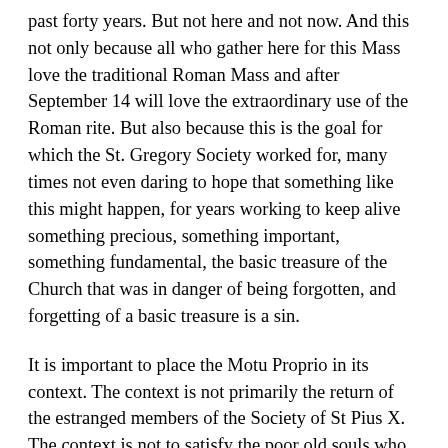past forty years. But not here and not now. And this not only because all who gather here for this Mass love the traditional Roman Mass and after September 14 will love the extraordinary use of the Roman rite. But also because this is the goal for which the St. Gregory Society worked for, many times not even daring to hope that something like this might happen, for years working to keep alive something precious, something important, something fundamental, the basic treasure of the Church that was in danger of being forgotten, and forgetting of a basic treasure is a sin.
It is important to place the Motu Proprio in its context. The context is not primarily the return of the estranged members of the Society of St Pius X. The context is not to satisfy the poor old souls who clung to the old form and could never quite give themselves over to the new order. The context is the good of the Church. Whatever the spin given by the secular media and the Church media, the context is the good of the Church. (As the Holy Father wrote in his letter accompanying the Motu